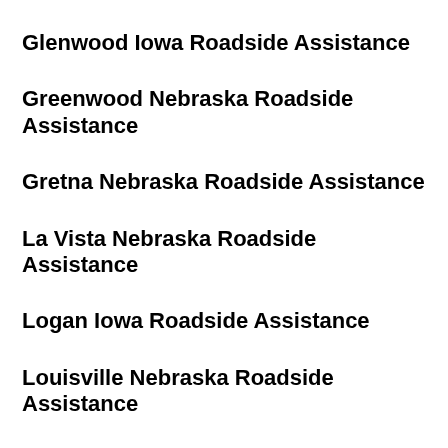Glenwood Iowa Roadside Assistance
Greenwood Nebraska Roadside Assistance
Gretna Nebraska Roadside Assistance
La Vista Nebraska Roadside Assistance
Logan Iowa Roadside Assistance
Louisville Nebraska Roadside Assistance
Malvern Iowa Roadside Assistance